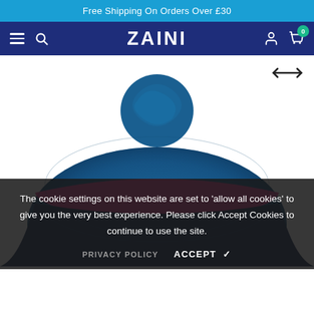Free Shipping On Orders Over £30
[Figure (screenshot): ZAINI store navigation bar with hamburger menu, search icon, ZAINI logo, user icon, and cart with 0 badge]
[Figure (photo): Blue knitted bobble/beanie hat with pink stripe near the brim, viewed from above/behind, on white background]
The cookie settings on this website are set to 'allow all cookies' to give you the very best experience. Please click Accept Cookies to continue to use the site.
PRIVACY POLICY   ACCEPT ✔